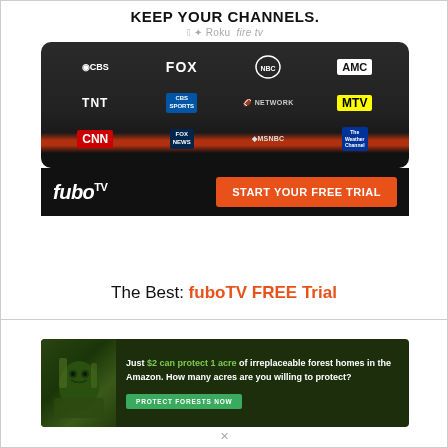[Figure (screenshot): FuboTV advertisement showing channel logos (CBS, FOX, NBC, AMC, TNT, CBS Sports, NHL Network, MTV, CNN, Fox News, MSNBC, The Weather Channel) on a dark device interface with Keep Your Channels headline and platform icons (Apple, Android, Roku, Fire TV)]
The Best: fuboTV FREE Trial
[Figure (photo): Amazon rainforest conservation advertisement showing wildlife/gorilla with green foliage, text: Just $2 can protect 1 acre of irreplaceable forest homes in the Amazon. How many acres are you willing to protect? PROTECT FORESTS NOW button]